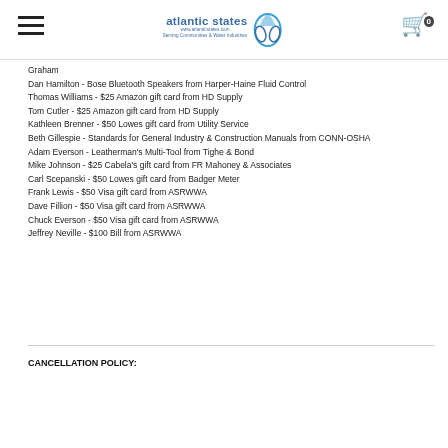atlantic states [logo with water drops] 0 [cart]
Graham
Dan Hamilton - Bose Bluetooth Speakers from Harper-Haine Fluid Control
Thomas Williams - $25 Amazon gift card from HD Supply
Tom Cutler - $25 Amazon gift card from HD Supply
Kathleen Brenner - $50 Lowes gift card from Utility Service
Beth Gillespie - Standards for General Industry & Construction Manuals from CONN-OSHA
Adam Everson - Leatherman's Multi-Tool from Tighe & Bond
Mike Johnson - $25 Cabela's gift card from FR Mahoney & Associates
Carl Scepanski - $50 Lowes gift card from Badger Meter
Frank Lewis - $50 Visa gift card from ASRWWA
Dave Fillion - $50 Visa gift card from ASRWWA
Chuck Everson - $50 Visa gift card from ASRWWA
Jeffrey Neville - $100 Bill from ASRWWA
CANCELLATION POLICY: